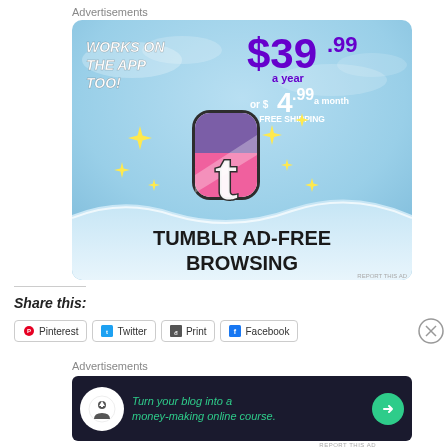Advertisements
[Figure (illustration): Tumblr Ad-Free Browsing advertisement banner showing Tumblr logo, price $39.99 a year or $4.99 a month with free shipping, works on the app too]
Share this:
Pinterest
Twitter
Print
Facebook
Advertisements
[Figure (illustration): Ad banner: Turn your blog into a money-making online course.]